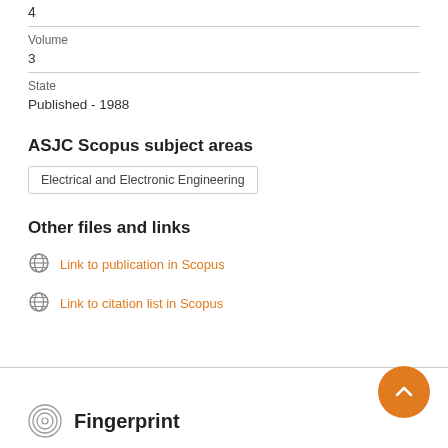4
Volume
3
State
Published - 1988
ASJC Scopus subject areas
Electrical and Electronic Engineering
Other files and links
Link to publication in Scopus
Link to citation list in Scopus
Fingerprint